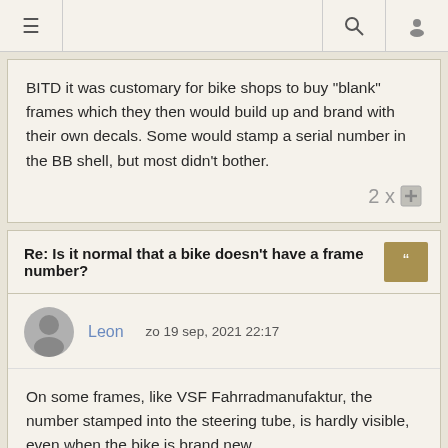≡  [search] [user]
BITD it was customary for bike shops to buy "blank" frames which they then would build up and brand with their own decals. Some would stamp a serial number in the BB shell, but most didn't bother.
2 x +
Re: Is it normal that a bike doesn't have a frame number?
Leon   zo 19 sep, 2021 22:17
On some frames, like VSF Fahrradmanufaktur, the number stamped into the steering tube, is hardly visible, even when the bike is brand new.
0 x +